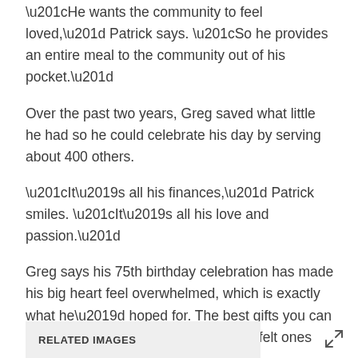“He wants the community to feel loved,” Patrick says. “So he provides an entire meal to the community out of his pocket.”
Over the past two years, Greg saved what little he had so he could celebrate his day by serving about 400 others.
“It’s all his finances,” Patrick smiles. “It’s all his love and passion.”
Greg says his 75th birthday celebration has made his big heart feel overwhelmed, which is exactly what he’d hoped for. The best gifts you can receive, he smiles, are the most heartfelt ones you can give.
RELATED IMAGES